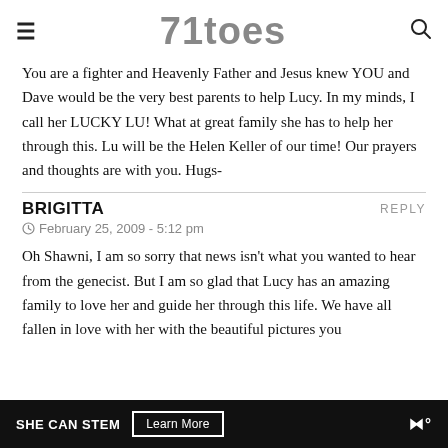71toes
You are a fighter and Heavenly Father and Jesus knew YOU and Dave would be the very best parents to help Lucy. In my minds, I call her LUCKY LU! What at great family she has to help her through this. Lu will be the Helen Keller of our time! Our prayers and thoughts are with you. Hugs-
BRIGITTA
February 25, 2009 - 5:12 pm
Oh Shawni, I am so sorry that news isn't what you wanted to hear from the genecist. But I am so glad that Lucy has an amazing family to love her and guide her through this life. We have all fallen in love with her with the beautiful pictures you
SHE CAN STEM  Learn More